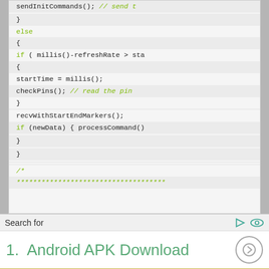[Figure (screenshot): Code editor screenshot showing Arduino/C++ code with alternating light/dark row background. Code shows closing braces, else block, if statement with millis()-refreshRate > sta..., startTime = millis();, checkPins(); // read the pin, closing brace, recvWithStartEndMarkers();, if (newData) { processCommand(), closing braces, blank lines, and start of a comment block /* followed by asterisks.]
Search for
1.  Android APK Download